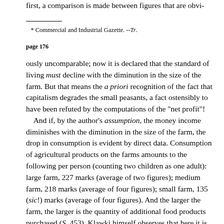first, a comparison is made between figures that are obvi-
* Commercial and Industrial Gazette. --Tr.
page 176
ously uncomparable; now it is declared that the standard of living must decline with the diminution in the size of the farm. But that means the a priori recognition of the fact that capitalism degrades the small peasants, a fact ostensibly to have been refuted by the computations of the "net profit"!
    And if, by the author's assumption, the money income diminishes with the diminution in the size of the farm, the drop in consumption is evident by direct data. Consumption of agricultural products on the farms amounts to the following per person (counting two children as one adult): large farm, 227 marks (average of two figures); medium farm, 218 marks (average of four figures); small farm, 135 (sic!) marks (average of four figures). And the larger the farm, the larger is the quantity of additional food products purchased (S. 453). Klawki himself observes that here it is necessary to raise the question of Unterkonsumption (under-consumption), which Mr. Bulgakov denied, and which here he preferred to ignore, thus proving to be even more of an apologist than Klawki. Klawki seeks to minimise the significance of this fact. "Whether the...